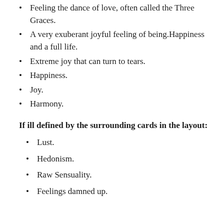Feeling the dance of love, often called the Three Graces.
A very exuberant joyful feeling of being.Happiness and a full life.
Extreme joy that can turn to tears.
Happiness.
Joy.
Harmony.
If ill defined by the surrounding cards in the layout:
Lust.
Hedonism.
Raw Sensuality.
Feelings damned up.